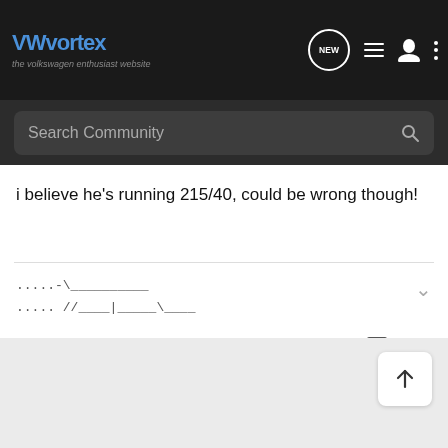VWvortex - the volkswagen enthusiast website
Search Community
i believe he's running 215/40, could be wrong though!
.....-\__________
..... //____|_____\____